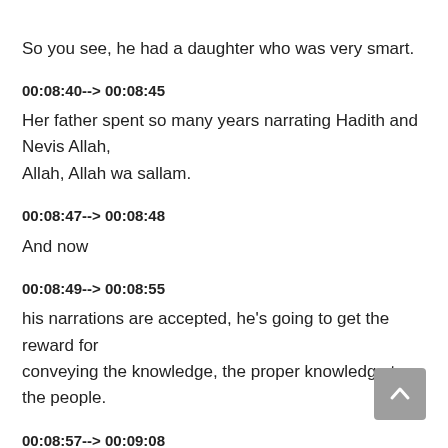So you see, he had a daughter who was very smart.
00:08:40--> 00:08:45
Her father spent so many years narrating Hadith and Nevis Allah, Allah, Allah wa sallam.
00:08:47--> 00:08:48
And now
00:08:49--> 00:08:55
his narrations are accepted, he's going to get the reward for conveying the knowledge, the proper knowledge to the people.
00:08:57--> 00:09:08
But now, the scholars who will assess him now they will notice that